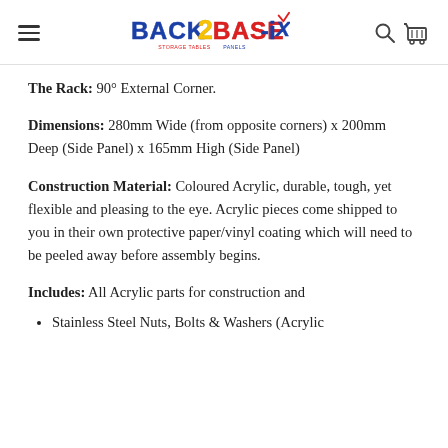Back 2 Base-IX logo with hamburger menu, search, and cart icons
The Rack: 90° External Corner.
Dimensions: 280mm Wide (from opposite corners) x 200mm Deep (Side Panel) x 165mm High (Side Panel)
Construction Material: Coloured Acrylic, durable, tough, yet flexible and pleasing to the eye. Acrylic pieces come shipped to you in their own protective paper/vinyl coating which will need to be peeled away before assembly begins.
Includes: All Acrylic parts for construction and
Stainless Steel Nuts, Bolts & Washers (Acrylic